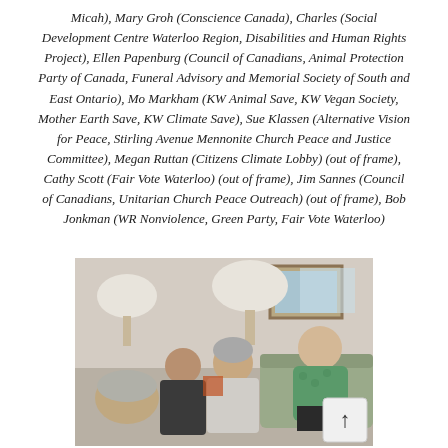Micah), Mary Groh (Conscience Canada), Charles (Social Development Centre Waterloo Region, Disabilities and Human Rights Project), Ellen Papenburg (Council of Canadians, Animal Protection Party of Canada, Funeral Advisory and Memorial Society of South and East Ontario), Mo Markham (KW Animal Save, KW Vegan Society, Mother Earth Save, KW Climate Save), Sue Klassen (Alternative Vision for Peace, Stirling Avenue Mennonite Church Peace and Justice Committee), Megan Ruttan (Citizens Climate Lobby) (out of frame), Cathy Scott (Fair Vote Waterloo) (out of frame), Jim Sannes (Council of Canadians, Unitarian Church Peace Outreach) (out of frame), Bob Jonkman (WR Nonviolence, Green Party, Fair Vote Waterloo)
[Figure (photo): Group of people seated in a living room setting, including older adults sitting on sofas and chairs, with lamps visible in background and a framed picture on the wall. A scroll-to-top button appears in the lower right corner.]